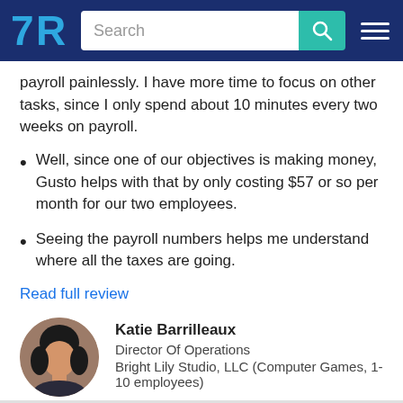TrustRadius - Search
payroll painlessly. I have more time to focus on other tasks, since I only spend about 10 minutes every two weeks on payroll.
Well, since one of our objectives is making money, Gusto helps with that by only costing $57 or so per month for our two employees.
Seeing the payroll numbers helps me understand where all the taxes are going.
Read full review
Katie Barrilleaux
Director Of Operations
Bright Lily Studio, LLC (Computer Games, 1-10 employees)